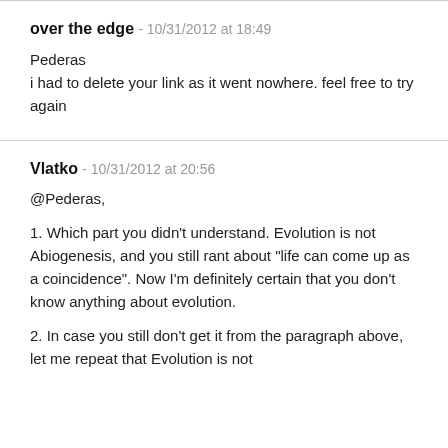over the edge - 10/31/2012 at 18:49
Pederas
i had to delete your link as it went nowhere. feel free to try again
Vlatko - 10/31/2012 at 20:56
@Pederas,

1. Which part you didn't understand. Evolution is not Abiogenesis, and you still rant about "life can come up as a coincidence". Now I'm definitely certain that you don't know anything about evolution.

2. In case you still don't get it from the paragraph above, let me repeat that Evolution is not